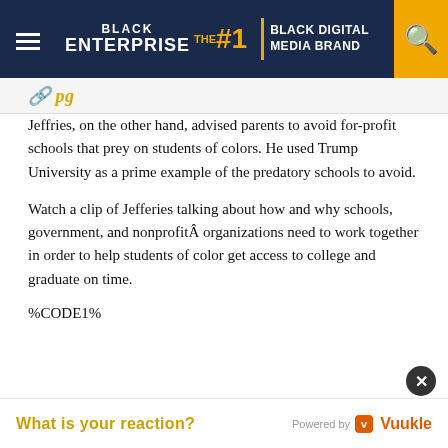BLACK ENTERPRISE — THE #1 BLACK DIGITAL MEDIA BRAND
Jeffries, on the other hand, advised parents to avoid for-profit schools that prey on students of colors. He used Trump University as a prime example of the predatory schools to avoid.
Watch a clip of Jefferies talking about how and why schools, government, and nonprofitÂ organizations need to work together in order to help students of color get access to college and graduate on time.
%CODE1%
What is your reaction?
Powered by Vuukle